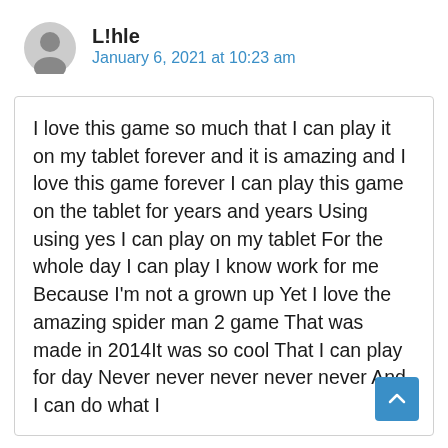L!hle
January 6, 2021 at 10:23 am
I love this game so much that I can play it on my tablet forever and it is amazing and I love this game forever I can play this game on the tablet for years and years Using using yes I can play on my tablet For the whole day I can play I know work for me Because I'm not a grown up Yet I love the amazing spider man 2 game That was made in 2014It was so cool That I can play for day Never never never never never And I can do what I